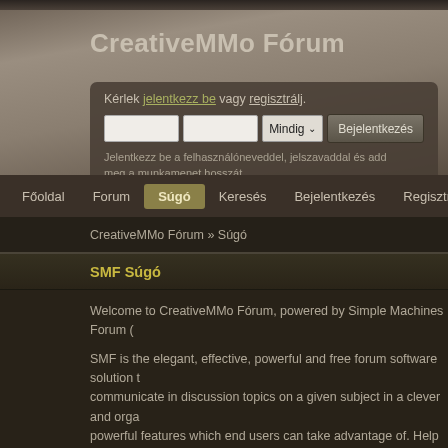CreativeMMo Fórum
Kérlek jelentkezz be vagy regisztrálj.
Jelentkezz be a felhasználóneveddel, jelszavaddal és add meg a munkamenet hosszát
Főoldal  Forum  Súgó  Keresés  Bejelentkezés  Regisztráció
CreativeMMo Fórum » Súgó
SMF Súgó
Welcome to CreativeMMo Fórum, powered by Simple Machines Forum (
SMF is the elegant, effective, powerful and free forum software solution t... communicate in discussion topics on a given subject in a clever and orga... powerful features which end users can take advantage of. Help for many... the question mark icon next to the relevant section or by selecting one o...